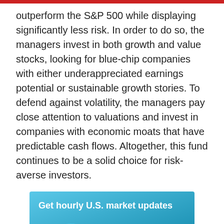outperform the S&P 500 while displaying significantly less risk. In order to do so, the managers invest in both growth and value stocks, looking for blue-chip companies with either underappreciated earnings potential or sustainable growth stories. To defend against volatility, the managers pay close attention to valuations and invest in companies with economic moats that have predictable cash flows. Altogether, this fund continues to be a solid choice for risk-averse investors.
[Figure (infographic): Blue gradient advertisement box with text 'Get hourly U.S. market updates' and image of an Amazon Echo Dot smart speaker device]